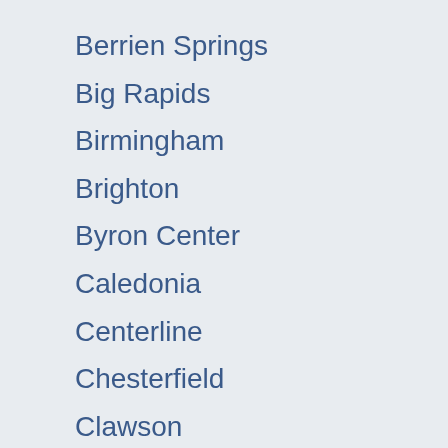Berrien Springs
Big Rapids
Birmingham
Brighton
Byron Center
Caledonia
Centerline
Chesterfield
Clawson
Clinton Twp
Dearborn
Detroit
Dundee